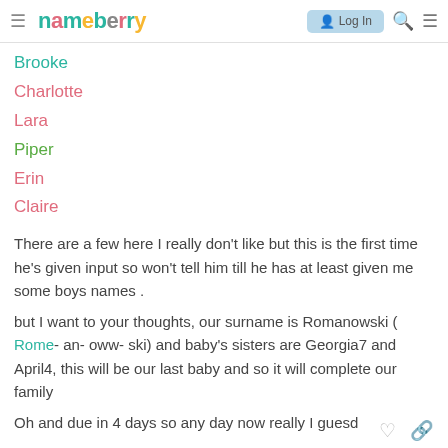nameberry | Log In
Brooke
Charlotte
Lara
Piper
Erin
Claire
There are a few here I really don't like but this is the first time he's given input so won't tell him till he has at least given me some boys names .
but I want to your thoughts, our surname is Romanowski ( Rome- an- oww- ski) and baby's sisters are Georgia7 and April4, this will be our last baby and so it will complete our family
Oh and due in 4 days so any day now really I guesd
Thankyou